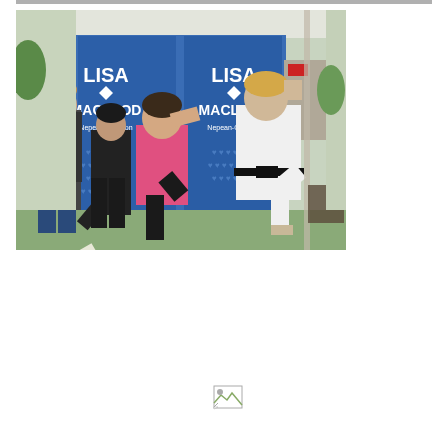[Figure (photo): Outdoor photo of four people posing in front of two blue Lisa MacLeod campaign banners. A girl in a dark jacket punches the air, a person in dark clothing does a kick, a woman in a pink top raises her hand with knee up, and a person in a white taekwondo uniform does a high kick. The banners read 'LISA MACLEOD' and reference Nepean-Carleton.]
[Figure (photo): Small broken/placeholder image icon at the bottom center of the page.]